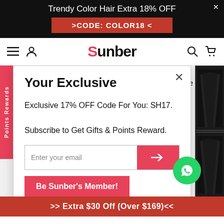Trendy Color Hair Extra 18% OFF >CODE: COLOR18<
[Figure (logo): Sunber brand logo with hamburger menu, user icon, search icon, and cart icon in navigation bar]
Points Rewards
Your Exclusive
Exclusive 17% OFF Code For You: SH17.

Subscribe to Get Gifts & Points Reward.
Enter your email
Be Sunber's Member!
>> Extra $30 Off (Over $169)<<